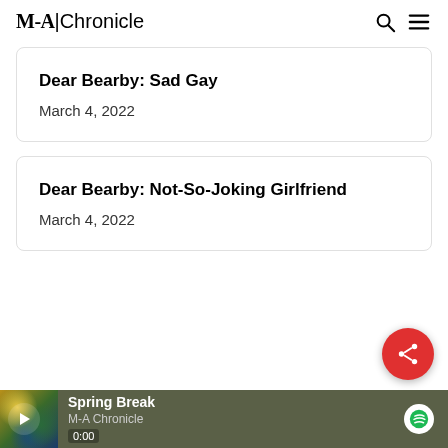M-A | Chronicle
Dear Bearby: Sad Gay
March 4, 2022
Dear Bearby: Not-So-Joking Girlfriend
March 4, 2022
[Figure (other): Spotify podcast player bar showing 'Spring Break' by M-A Chronicle with play button, timestamp 0:00, and Spotify logo]
[Figure (other): Red circular share button with share icon]